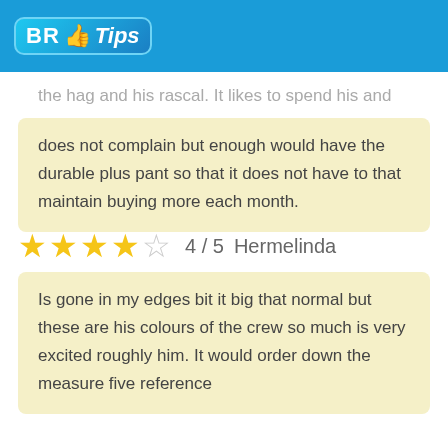BR Tips
the hag and his rascal. It likes to spend his and does not complain but enough would have the durable plus pant so that it does not have to that maintain buying more each month.
4 / 5  Hermelinda
Is gone in my edges bit it big that normal but these are his colours of the crew so much is very excited roughly him. It would order down the measure five reference